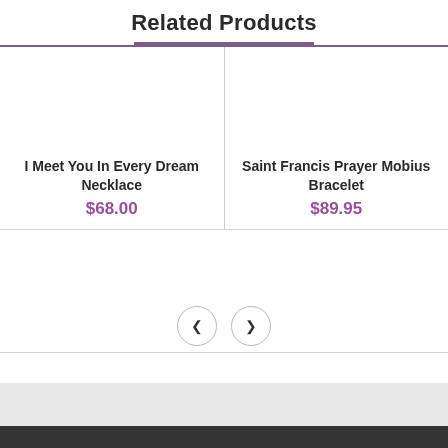Related Products
I Meet You In Every Dream Necklace
$68.00
Saint Francis Prayer Mobius Bracelet
$89.95